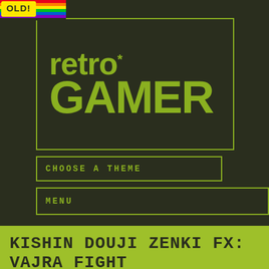[Figure (logo): Rainbow striped corner with OLD! badge overlay]
retro* GAMER
CHOOSE A THEME
MENU
KISHIN DOUJI ZENKI FX: VAJRA FIGHT
by Retro Gamer Team, 10 December 2013
9,459 views   0 comments